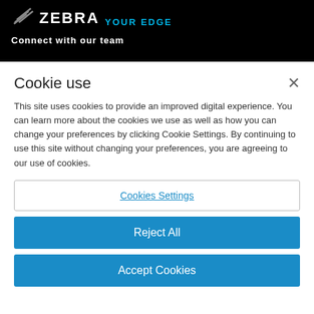ZEBRA YOUR EDGE
Connect with our team
Cookie use
This site uses cookies to provide an improved digital experience. You can learn more about the cookies we use as well as how you can change your preferences by clicking Cookie Settings. By continuing to use this site without changing your preferences, you are agreeing to our use of cookies.
Cookies Settings
Reject All
Accept Cookies